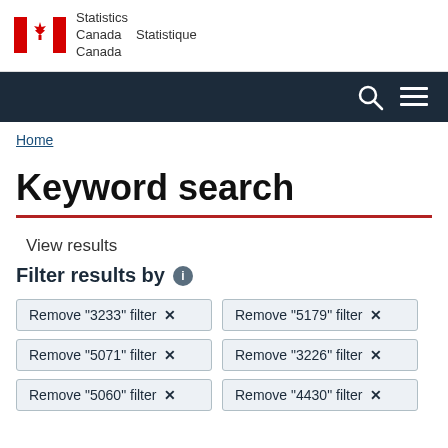Statistics Canada / Statistique Canada
Home
Keyword search
View results
Filter results by
Remove "3233" filter
Remove "5179" filter
Remove "5071" filter
Remove "3226" filter
Remove "5060" filter
Remove "4430" filter